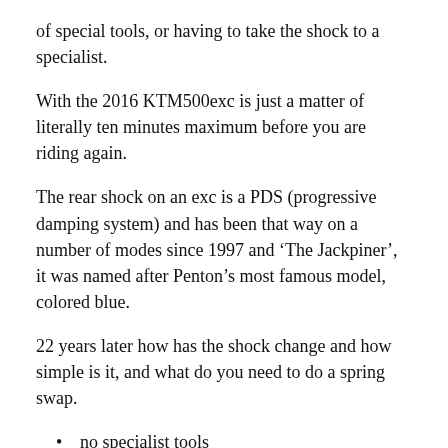of special tools, or having to take the shock to a specialist.
With the 2016 KTM500exc is just a matter of literally ten minutes maximum before you are riding again.
The rear shock on an exc is a PDS (progressive damping system) and has been that way on a number of modes since 1997 and ‘The Jackpiner’, it was named after Penton’s most famous model, colored blue.
22 years later how has the shock change and how simple is it, and what do you need to do a spring swap.
no specialist tools
4mm allen
axle wrench
shock wrench